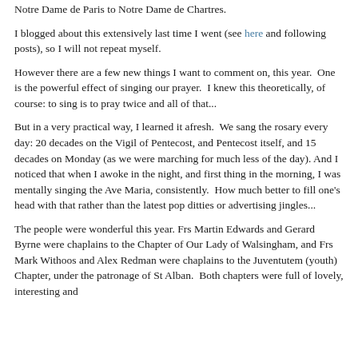Notre Dame de Paris to Notre Dame de Chartres.
I blogged about this extensively last time I went (see here and following posts), so I will not repeat myself.
However there are a few new things I want to comment on, this year.  One is the powerful effect of singing our prayer.  I knew this theoretically, of course: to sing is to pray twice and all of that...
But in a very practical way, I learned it afresh.  We sang the rosary every day: 20 decades on the Vigil of Pentecost, and Pentecost itself, and 15 decades on Monday (as we were marching for much less of the day). And I noticed that when I awoke in the night, and first thing in the morning, I was mentally singing the Ave Maria, consistently.  How much better to fill one's head with that rather than the latest pop ditties or advertising jingles...
The people were wonderful this year. Frs Martin Edwards and Gerard Byrne were chaplains to the Chapter of Our Lady of Walsingham, and Frs Mark Withoos and Alex Redman were chaplains to the Juventutem (youth) Chapter, under the patronage of St Alban.  Both chapters were full of lovely, interesting and